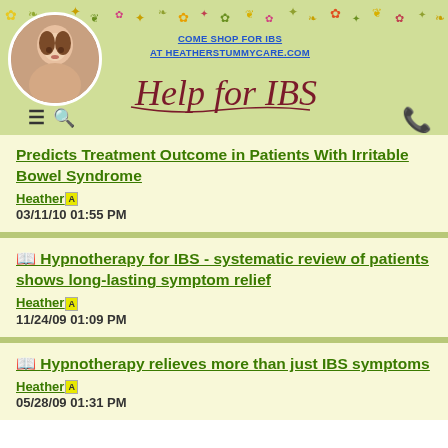COME SHOP FOR IBS AT HEATHERSTUMMYCARE.COM
[Figure (logo): Help for IBS cursive logo with decorative floral border and portrait photo]
Predicts Treatment Outcome in Patients With Irritable Bowel Syndrome
Heather [A badge]
03/11/10 01:55 PM
Hypnotherapy for IBS - systematic review of patients shows long-lasting symptom relief
Heather [A badge]
11/24/09 01:09 PM
Hypnotherapy relieves more than just IBS symptoms
Heather [A badge]
05/28/09 01:31 PM